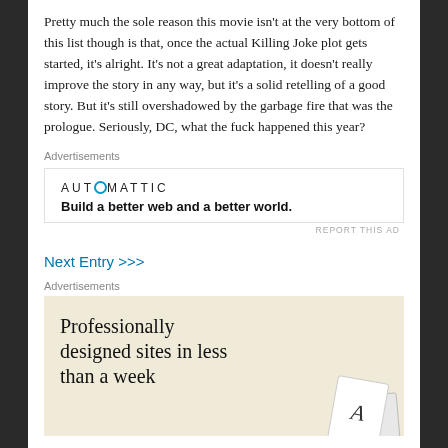Pretty much the sole reason this movie isn't at the very bottom of this list though is that, once the actual Killing Joke plot gets started, it's alright. It's not a great adaptation, it doesn't really improve the story in any way, but it's a solid retelling of a good story. But it's still overshadowed by the garbage fire that was the prologue. Seriously, DC, what the fuck happened this year?
[Figure (other): Automattic advertisement: logo and tagline 'Build a better web and a better world.']
Next Entry >>>
[Figure (other): Advertisement with beige background: 'Professionally designed sites in less than a week' with decorative card graphics]